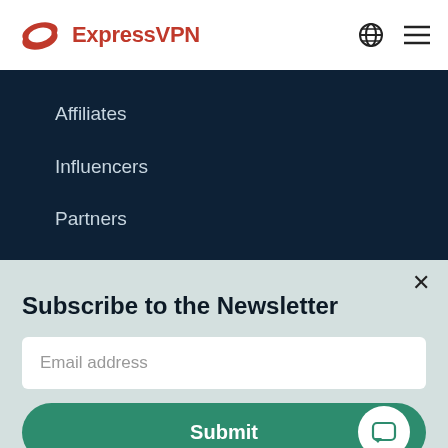[Figure (logo): ExpressVPN logo with red shield/arrow icon and red text 'ExpressVPN']
Affiliates
Influencers
Partners
$5,000 Scholarship
Subscribe to the Newsletter
Email address
Submit